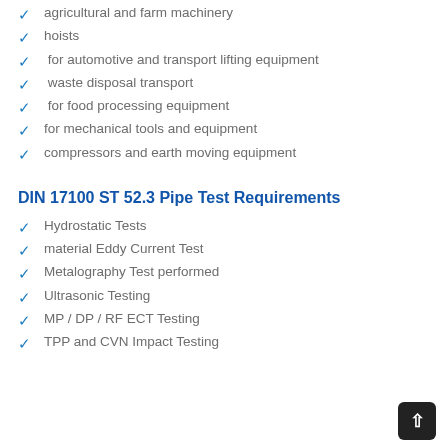agricultural and farm machinery
hoists
for automotive and transport lifting equipment
waste disposal transport
for food processing equipment
for mechanical tools and equipment
compressors and earth moving equipment
DIN 17100 ST 52.3 Pipe Test Requirements
Hydrostatic Tests
material Eddy Current Test
Metalography Test performed
Ultrasonic Testing
MP / DP / RF ECT Testing
TPP and CVN Impact Testing